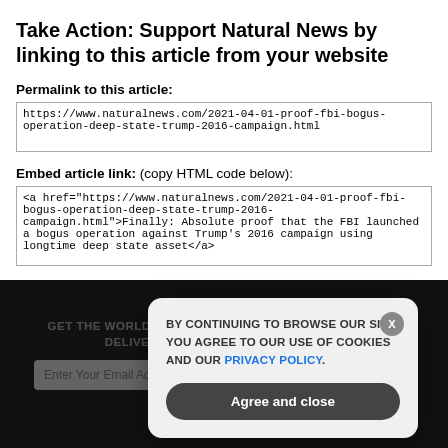Take Action: Support Natural News by linking to this article from your website
Permalink to this article:
https://www.naturalnews.com/2021-04-01-proof-fbi-bogus-operation-deep-state-trump-2016-campaign.html
Embed article link: (copy HTML code below):
<a href="https://www.naturalnews.com/2021-04-01-proof-fbi-bogus-operation-deep-state-trump-2016-campaign.html">Finally: Absolute proof that the FBI launched a bogus operation against Trump's 2016 campaign using longtime deep state asset</a>
GET THE WORLD'S BEST NATURAL HEALTH NEWSLETTER DELIVERED STRAIGHT TO YOUR INBOX
BY CONTINUING TO BROWSE OUR SITE YOU AGREE TO OUR USE OF COOKIES AND OUR PRIVACY POLICY.
Agree and close